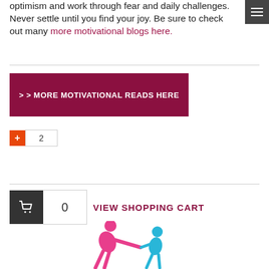optimism and work through fear and daily challenges. Never settle until you find your joy. Be sure to check out many more motivational blogs here.
[Figure (screenshot): Dark grey hamburger menu icon (three horizontal bars) in the top-right corner]
[Figure (other): Dark crimson/maroon CTA button with white text: >> MORE MOTIVATIONAL READS HERE]
[Figure (other): Social share widget: orange plus button and count box showing 2]
[Figure (other): Shopping cart widget with dark icon box, count 0, and crimson text VIEW SHOPPING CART]
[Figure (illustration): Two figures: a pink person helping a smaller cyan/blue person up, an assistance/helping illustration]